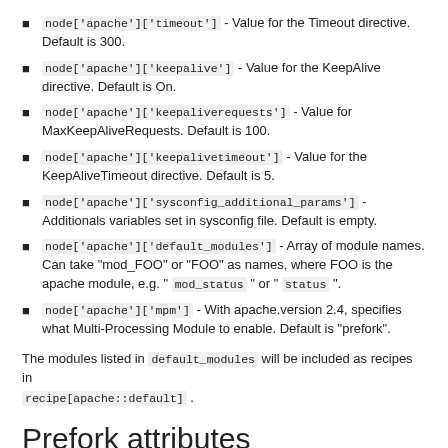node['apache']['timeout'] - Value for the Timeout directive. Default is 300.
node['apache']['keepalive'] - Value for the KeepAlive directive. Default is On.
node['apache']['keepaliverequests'] - Value for MaxKeepAliveRequests. Default is 100.
node['apache']['keepalivetimeout'] - Value for the KeepAliveTimeout directive. Default is 5.
node['apache']['sysconfig_additional_params'] - Additionals variables set in sysconfig file. Default is empty.
node['apache']['default_modules'] - Array of module names. Can take "mod_FOO" or "FOO" as names, where FOO is the apache module, e.g. " mod_status " or " status ".
node['apache']['mpm'] - With apache.version 2.4, specifies what Multi-Processing Module to enable. Default is "prefork".
The modules listed in default_modules will be included as recipes in recipe[apache::default].
Prefork attributes
Prefork attributes are used for tuning the Apache HTTPD prefork MPM